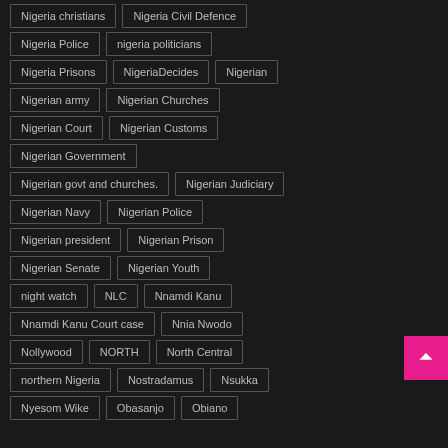Nigeria christians
Nigeria Civil Defence
Nigeria Police
nigeria politicians
Nigeria Prisons
NigeriaDecides
Nigerian
Nigerian army
Nigerian Churches
Nigerian Court
Nigerian Customs
Nigerian Government
Nigerian govt and churches.
Nigerian Judiciary
Nigerian Navy
Nigerian Police
Nigerian president
Nigerian Prison
Nigerian Senate
Nigerian Youth
night watch
NLC
Nnamdi Kanu
Nnamdi Kanu Court case
Nnia Nwodo
Nollywood
NORTH
North Central
northern Nigeria
Nostradamus
Nsukka
Nyesom Wike
Obasanjo
Obiano